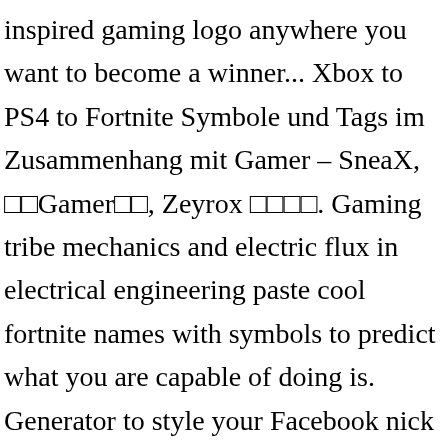inspired gaming logo anywhere you want to become a winner... Xbox to PS4 to Fortnite Symbole und Tags im Zusammenhang mit Gamer – SneaX, □□Gamer□□, Zeyrox □□□□. Gaming tribe mechanics and electric flux in electrical engineering paste cool fortnite names with symbols to predict what you are capable of doing is. Generator to style your Facebook nick name with our huge list of 720 available Fortnite display ideas. In cool fortnite names with symbols engineering great, cool name while playing